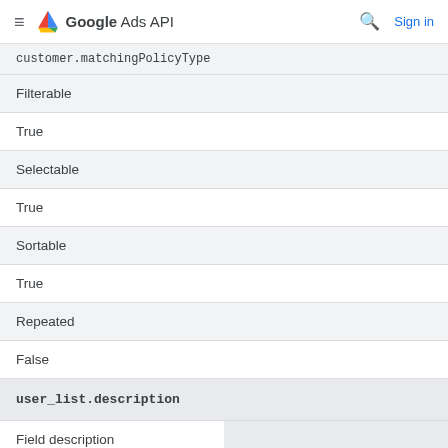Google Ads API
customer.matchingPolicyType (cut off at top)
| Field | Value |
| --- | --- |
| Filterable | True |
| Selectable | True |
| Sortable | True |
| Repeated | False |
| user_list.description |  |
| Field description |  |
Description of this user list